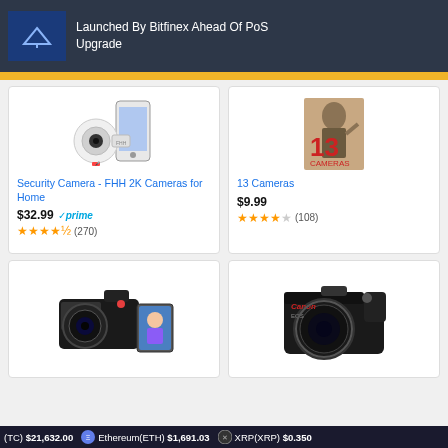Launched By Bitfinex Ahead Of PoS Upgrade
[Figure (screenshot): Security Camera FHH 2K product image with phone app]
Security Camera - FHH 2K Cameras for Home
$32.99 ✓prime ★★★★½ (270)
[Figure (screenshot): 13 Cameras movie cover with man biting something]
13 Cameras
$9.99 ★★★★ (108)
[Figure (screenshot): Digital camera with flip screen showing woman]
[Figure (screenshot): Canon EOS DSLR camera]
(TC) $21,632.00   Ethereum(ETH) $1,691.03   XRP(XRP) $0.3504